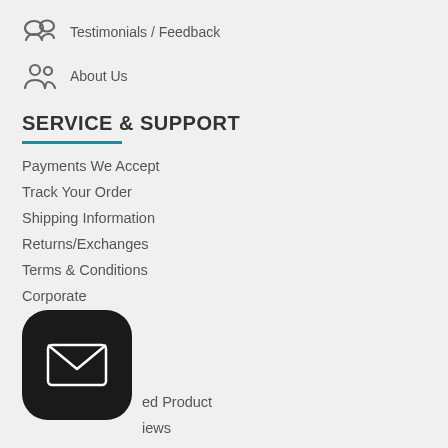Testimonials / Feedback
About Us
SERVICE & SUPPORT
Payments We Accept
Track Your Order
Shipping Information
Returns/Exchanges
Terms & Conditions
Corporate
SHOP
E-Vouchers
Featured Product
Reviews
Outlet
[Figure (illustration): Email/mail app icon — dark rounded square with white envelope]